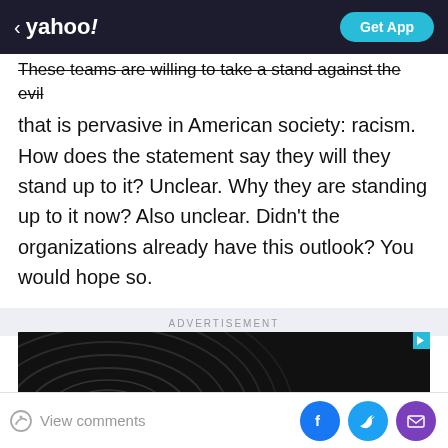< yahoo! | Get App
These teams are willing to take a stand against the evil that is pervasive in American society: racism. How does the statement say they will they stand up to it? Unclear. Why they are standing up to it now? Also unclear. Didn't the organizations already have this outlook? You would hope so.
ADVERTISEMENT
[Figure (screenshot): Dark advertisement banner with concentric swirling lines and text 'Smoother trades']
View comments | Facebook share | Twitter share | Email share